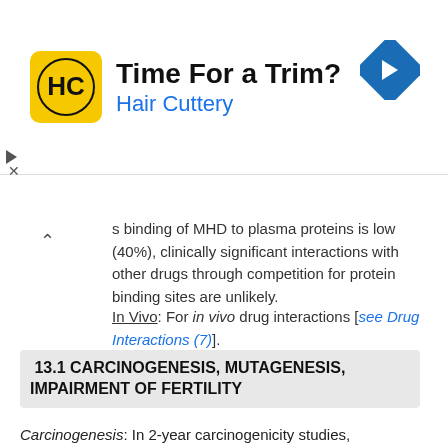[Figure (other): Advertisement banner for Hair Cuttery salon with logo, tagline 'Time For a Trim?', and navigation icon]
s binding of MHD to plasma proteins is low (40%), clinically significant interactions with other drugs through competition for protein binding sites are unlikely.
In Vivo: For in vivo drug interactions [see Drug Interactions (7)].
13.1 CARCINOGENESIS, MUTAGENESIS, IMPAIRMENT OF FERTILITY
Carcinogenesis: In 2-year carcinogenicity studies, oxcarbazepine was administered in the diet at doses of up to 100 mg/kg/day to mice and by gavage at doses of up to 250 mg/kg/day to rats, and the pharmacologically active 10-hydroxy metabolite (MHD) was administered orally at doses of up to 600 mg/kg/day to rats. In mice, a dose-related increase in the incidence of hepatocellular